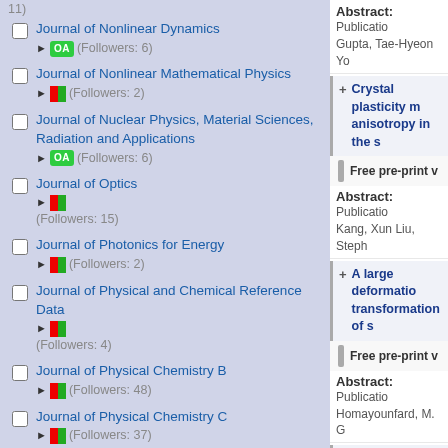11)
Journal of Nonlinear Dynamics ▶ OA (Followers: 6)
Journal of Nonlinear Mathematical Physics ▶ [icon] (Followers: 2)
Journal of Nuclear Physics, Material Sciences, Radiation and Applications ▶ OA (Followers: 6)
Journal of Optics ▶ [icon] (Followers: 15)
Journal of Photonics for Energy ▶ [icon] (Followers: 2)
Journal of Physical and Chemical Reference Data ▶ [icon] (Followers: 4)
Journal of Physical Chemistry B ▶ [icon] (Followers: 48)
Journal of Physical Chemistry C ▶ [icon] (Followers: 37)
Journal of Physical Oceanography ▶ [icon] (Followers: 18, SJR: 2.461, CiteScore: 3)
Abstract: Publication... Gupta, Tae-Hyeon Yo
Crystal plasticity m... anisotropy in the s...
Free pre-print v...
Abstract: Publication... Kang, Xun Liu, Steph
A large deformation... transformation of s...
Free pre-print v...
Abstract: Publication... Homayounfard, M. G
Deformation faultin... melted 316L stainle...
Free pre-print v...
Abstract: Publication... He, Chao Wang, Bin
A modular spectral...